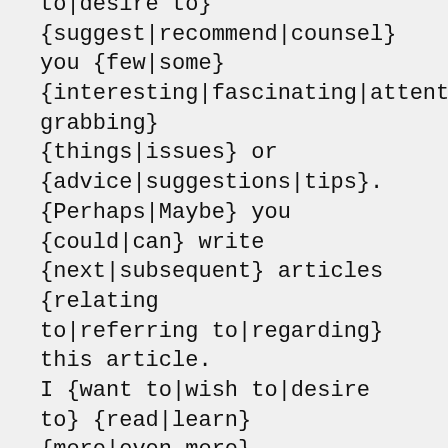to|desire to} {suggest|recommend|counsel} you {few|some} {interesting|fascinating|attention-grabbing} {things|issues} or {advice|suggestions|tips}. {Perhaps|Maybe} you {could|can} write {next|subsequent} articles {relating to|referring to|regarding} this article. I {want to|wish to|desire to} {read|learn} {more|even more} {things|issues} {approximately|about} it!| {I have|I've} been {surfing|browsing} {online|on-line} {more than|greater than} {three|3} hours {these days|nowadays|today|lately|as of late}, {yet|but} I {never|by no means} {found|discovered} any {interesting|fascinating|attention-